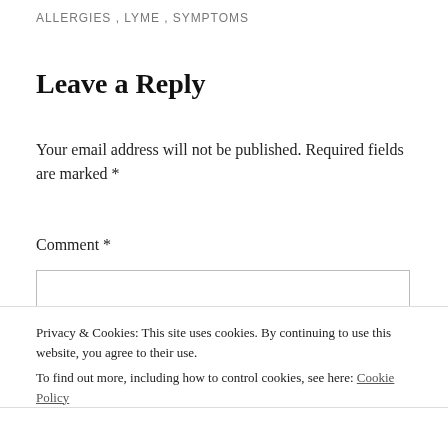ALLERGIES , LYME , SYMPTOMS
Leave a Reply
Your email address will not be published. Required fields are marked *
Comment *
Privacy & Cookies: This site uses cookies. By continuing to use this website, you agree to their use.
To find out more, including how to control cookies, see here: Cookie Policy